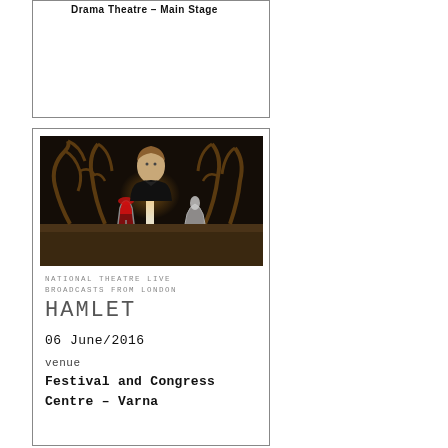Drama Theatre – Main Stage
[Figure (photo): Theatre production photo showing a man in dark clothing seated at a table with antlers, a red wine glass, candles, and decorative objects in a dark dramatic scene.]
NATIONAL THEATRE LIVE BROADCASTS FROM LONDON
HAMLET
06 June/2016
venue
Festival and Congress Centre – Varna